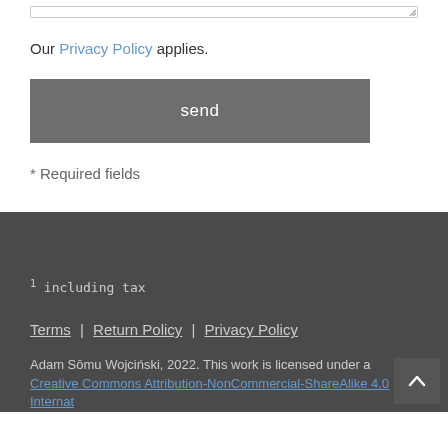Our Privacy Policy applies.
send
* Required fields
1 including tax
Terms | Return Policy | Privacy Policy
Adam Sōmu Wojciński, 2022. This work is licensed under a Creative Commons Attribution-NonCommercial-ShareAlike 4.0 Internat...